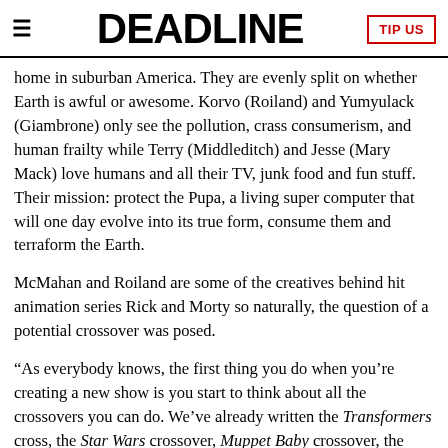DEADLINE
home in suburban America. They are evenly split on whether Earth is awful or awesome. Korvo (Roiland) and Yumyulack (Giambrone) only see the pollution, crass consumerism, and human frailty while Terry (Middleditch) and Jesse (Mary Mack) love humans and all their TV, junk food and fun stuff. Their mission: protect the Pupa, a living super computer that will one day evolve into its true form, consume them and terraform the Earth.
McMahan and Roiland are some of the creatives behind hit animation series Rick and Morty so naturally, the question of a potential crossover was posed.
“As everybody knows, the first thing you do when you’re creating a new show is you start to think about all the crossovers you can do. We’ve already written the Transformers cross, the Star Wars crossover, Muppet Baby crossover, the Captain Crunch crossover,” McMahan revealed.